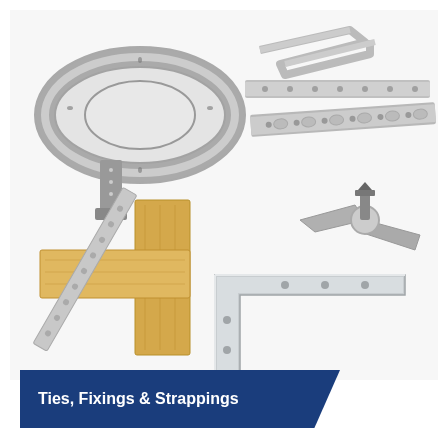[Figure (photo): Collection of metal ties, fixings and strappings products including: a coiled galvanized steel strapping roll (top left), a bent metal connector bracket and perforated steel angle strips (top right), a yellow timber joist with perforated steel strapping illustrated in use (bottom left), a metal bat/strap connector with bolt (middle right), and a silver L-shaped steel angle fixing bracket (bottom center-right).]
Ties, Fixings & Strappings